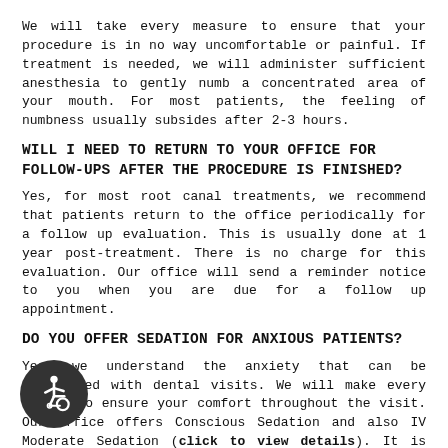We will take every measure to ensure that your procedure is in no way uncomfortable or painful. If treatment is needed, we will administer sufficient anesthesia to gently numb a concentrated area of your mouth. For most patients, the feeling of numbness usually subsides after 2-3 hours.
WILL I NEED TO RETURN TO YOUR OFFICE FOR FOLLOW-UPS AFTER THE PROCEDURE IS FINISHED?
Yes, for most root canal treatments, we recommend that patients return to the office periodically for a follow up evaluation. This is usually done at 1 year post-treatment. There is no charge for this evaluation. Our office will send a reminder notice to you when you are due for a follow up appointment.
DO YOU OFFER SEDATION FOR ANXIOUS PATIENTS?
Yes, we understand the anxiety that can be associated with dental visits. We will make every effort to ensure your comfort throughout the visit. Our office offers Conscious Sedation and also IV Moderate Sedation (click to view details). It is important to note that all patients undergoing sedation must have an escort to transport them to and from their visit. We see patients for the consultation first to discuss the sedation options and then they will come back on a different day for the treatment. This gives us the information to find the right sedation to fit our patients needs, and we can answer any questions our patients may have.